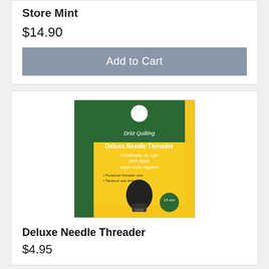Store Mint
$14.90
Add to Cart
[Figure (photo): Product photo of Dritz Quilting Deluxe Needle Threader in yellow and green packaging with a black needle threader tool visible]
Deluxe Needle Threader
$4.95